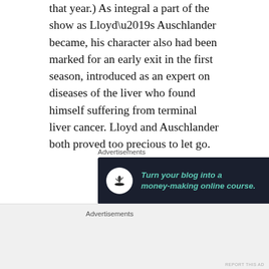that year.) As integral a part of the show as Lloyd’s Auschlander became, his character also had been marked for an early exit in the first season, introduced as an expert on diseases of the liver who found himself suffering from terminal liver cancer. Lloyd and Auschlander both proved too precious to let go.
[Figure (other): Advertisement banner: dark navy background with circular white icon showing a tree/bonsai silhouette. Green italic text reads 'Turn your blog into a money-making online course.' with a white arrow pointing right. Labeled 'Advertisements' above and 'REPORT THIS AD' below.]
The digital clock that would appear periodically in the corner of the screen read 9:03 p.m. at the
[Figure (other): Bottom advertisement bar with gray background, labeled 'Advertisements' and 'REPORT THIS AD'.]